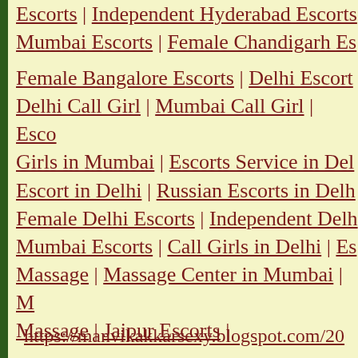Escorts | Independent Hyderabad Escorts | Mumbai Escorts | Female Chandigarh Es...
Female Bangalore Escorts | Delhi Escort | Delhi Call Girl | Mumbai Call Girl | Esco... Girls in Mumbai | Escorts Service in Del... Escort in Delhi | Russian Escorts in Delh... Female Delhi Escorts | Independent Delh... Mumbai Escorts | Call Girls in Delhi | Es... Massage | Massage Center in Mumbai | M... Massage | Jaipur Escorts |
https://manvikakkarsexy.blogspot.com/20...